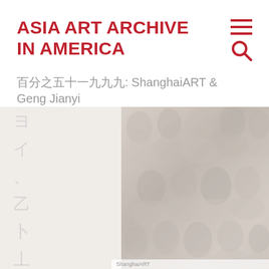ASIA ART ARCHIVE IN AMERICA
百分之五十一九九九: ShanghaiART & Geng Jianyi
[Figure (photo): Large muted/desaturated image showing vertical Chinese calligraphic strokes on the left side and a crowd of portrait faces/figures on the right side, serving as a background illustration for the exhibition.]